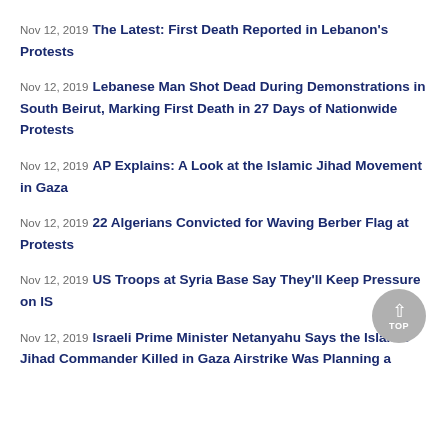Nov 12, 2019 The Latest: First Death Reported in Lebanon's Protests
Nov 12, 2019 Lebanese Man Shot Dead During Demonstrations in South Beirut, Marking First Death in 27 Days of Nationwide Protests
Nov 12, 2019 AP Explains: A Look at the Islamic Jihad Movement in Gaza
Nov 12, 2019 22 Algerians Convicted for Waving Berber Flag at Protests
Nov 12, 2019 US Troops at Syria Base Say They'll Keep Pressure on IS
Nov 12, 2019 Israeli Prime Minister Netanyahu Says the Islamic Jihad Commander Killed in Gaza Airstrike Was Planning a